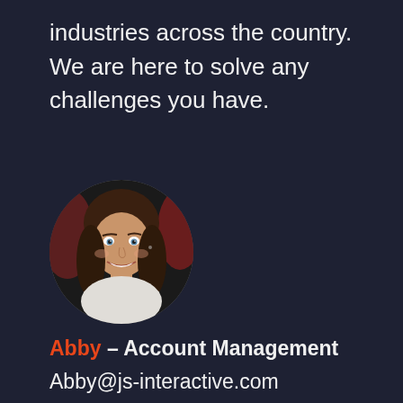industries across the country. We are here to solve any challenges you have.
[Figure (photo): Circular profile photo of a smiling young woman with long brown hair, wearing a white top, against a dark background.]
Abby – Account Management
Abby@js-interactive.com